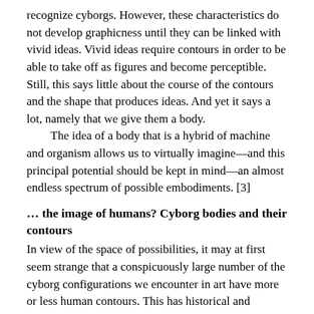recognize cyborgs. However, these characteristics do not develop graphicness until they can be linked with vivid ideas. Vivid ideas require contours in order to be able to take off as figures and become perceptible. Still, this says little about the course of the contours and the shape that produces ideas. And yet it says a lot, namely that we give them a body.
    The idea of a body that is a hybrid of machine and organism allows us to virtually imagine—and this principal potential should be kept in mind—an almost endless spectrum of possible embodiments. [3]
… the image of humans? Cyborg bodies and their contours
In view of the space of possibilities, it may at first seem strange that a conspicuously large number of the cyborg configurations we encounter in art have more or less human contours. This has historical and mythological reasons, in which on the other hand history and myth are considerably intermixed.
    First of all, let us refer back to the birth of the term «cyborg.» «The Cyborg study is the study of man.» This is the powerful first sentence of the final report by the same name that was submitted by a working group to NASA on May 15, 1963. Its subtitle was equally as